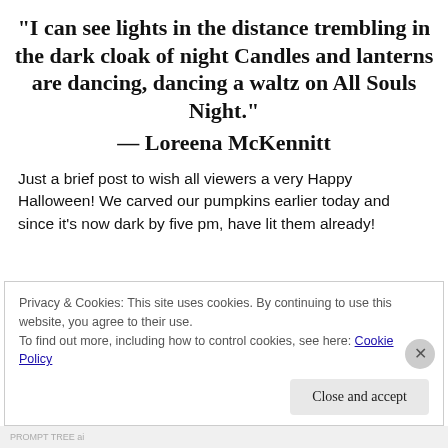“I can see lights in the distance trembling in the dark cloak of night Candles and lanterns are dancing, dancing a waltz on All Souls Night.”
— Loreena McKennitt
Just a brief post to wish all viewers a very Happy Halloween! We carved our pumpkins earlier today and since it’s now dark by five pm, have lit them already!
Privacy & Cookies: This site uses cookies. By continuing to use this website, you agree to their use.
To find out more, including how to control cookies, see here: Cookie Policy
Close and accept